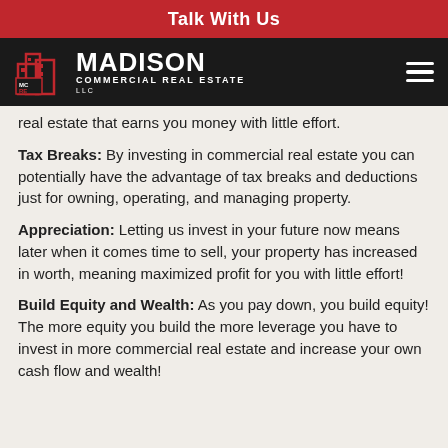Talk With Us
[Figure (logo): Madison Commercial Real Estate LLC logo with building icon on dark navigation bar]
real estate that earns you money with little effort.
Tax Breaks: By investing in commercial real estate you can potentially have the advantage of tax breaks and deductions just for owning, operating, and managing property.
Appreciation: Letting us invest in your future now means later when it comes time to sell, your property has increased in worth, meaning maximized profit for you with little effort!
Build Equity and Wealth: As you pay down, you build equity! The more equity you build the more leverage you have to invest in more commercial real estate and increase your own cash flow and wealth!